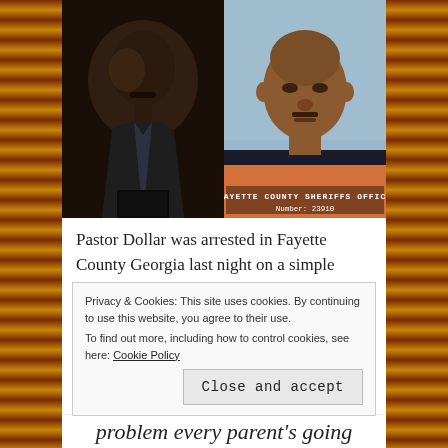[Figure (photo): Two side-by-side photos: left shows a man in a suit holding a book in a dark formal setting; right shows a mugshot of a man in an orange jumpsuit with text 'FAYETTE COUNTY SHERIFFS OFFICE Number: 23910']
Pastor Dollar was arrested in Fayette County Georgia last night on a simple battery charge. . .
A CBS news team learned that Dollar was booked into the
Privacy & Cookies: This site uses cookies. By continuing to use this website, you agree to their use.
To find out more, including how to control cookies, see here: Cookie Policy
Close and accept
problem every parent's going